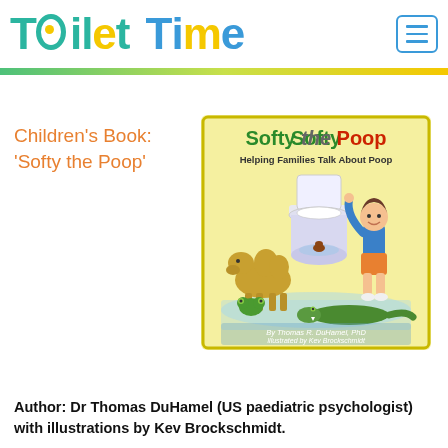Toilet Time
Children's Book: 'Softy the Poop'
[Figure (illustration): Book cover for 'Softy the Poop: Helping Families Talk About Poop' by Thomas R. DuHamel PhD, illustrated by Kev Brockschmidt. Yellow background with cartoon boy, toilet, camel, frog, and alligator.]
Author: Dr Thomas DuHamel (US paediatric psychologist) with illustrations by Kev Brockschmidt.